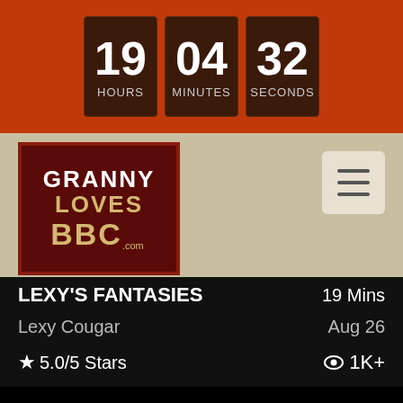[Figure (screenshot): Countdown timer showing 19 hours, 04 minutes, 32 seconds on a red background]
[Figure (logo): GrannyLovesBBC.com logo - dark red box with text GRANNY LOVES BBC .com in white and gold]
[Figure (screenshot): Hamburger menu button icon (three horizontal lines) on beige/cream rounded square]
LEXY'S FANTASIES
Lexy Cougar
19 Mins
Aug 26
★ 5.0/5 Stars
👁 1K+